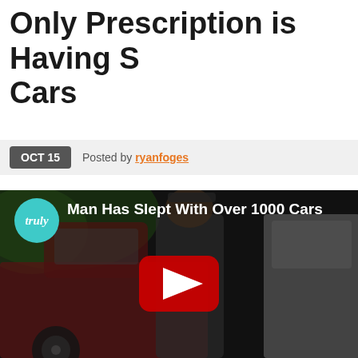Only Prescription is Having S… Cars
OCT 15  Posted by ryanfoges
[Figure (screenshot): YouTube-embedded video thumbnail showing a man standing next to a red truck and a white car. The video is titled 'Man Has Slept With Over 1000 Cars' with the Truly channel logo (teal circle with italic 'truly') in the top-left corner. A YouTube red play button appears in the center of the darkened image.]